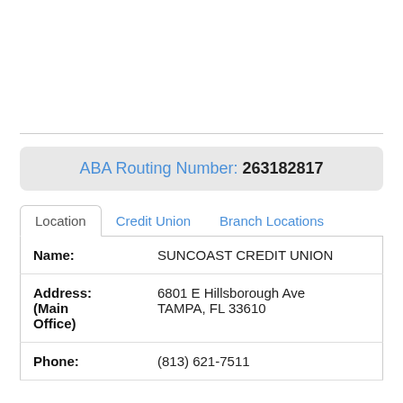ABA Routing Number: 263182817
| Field | Value |
| --- | --- |
| Name: | SUNCOAST CREDIT UNION |
| Address: (Main Office) | 6801 E Hillsborough Ave
TAMPA, FL 33610 |
| Phone: | (813) 621-7511 |